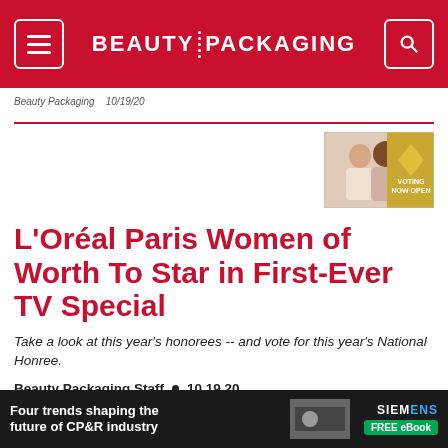BEAUTY PACKAGING
Beauty Packaging  •  10/19/20
[Figure (photo): Advertisement thumbnail showing two women and a 'Voting Now Open' banner in gold]
L'Oréal Paris Women of Worth To Star in First-Ever TV Special
Take a look at this year's honorees -- and vote for this year's National Honree.
Beauty Packaging Staff  •  10.19.20
[Figure (infographic): Bottom advertisement banner: 'Four trends shaping the future of CP&R industry' by Siemens with FREE eBook button]